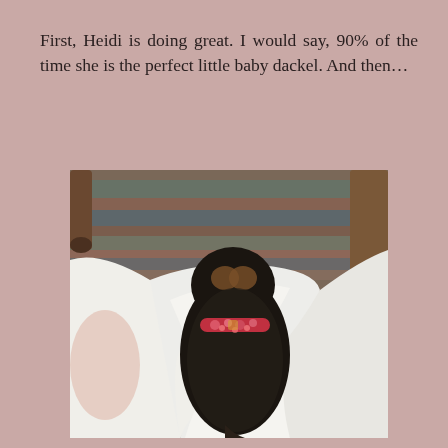First, Heidi is doing great. I would say, 90% of the time she is the perfect little baby dackel. And then...
[Figure (photo): A dachshund dog viewed from above, lying on or against a white fluffy blanket/towel, wearing a floral red collar. The dog has dark brown/black fur on top. In the background is a woven rug with multicolored stripes and wooden chair legs are visible.]